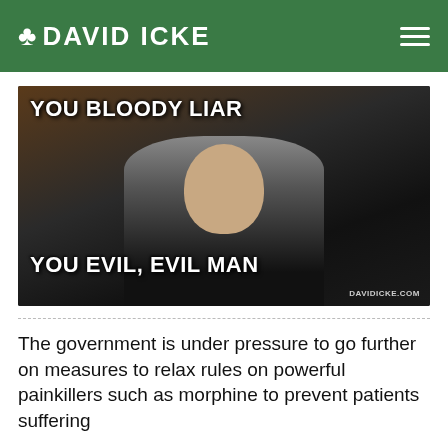DAVID ICKE
[Figure (photo): Meme image with text 'YOU BLOODY LIAR' at the top and 'YOU EVIL, EVIL MAN' at the bottom over a photo of a man in a dark suit, with 'DAVIDICKE.COM' watermark in the bottom right corner.]
The government is under pressure to go further on measures to relax rules on powerful painkillers such as morphine to prevent patients suffering